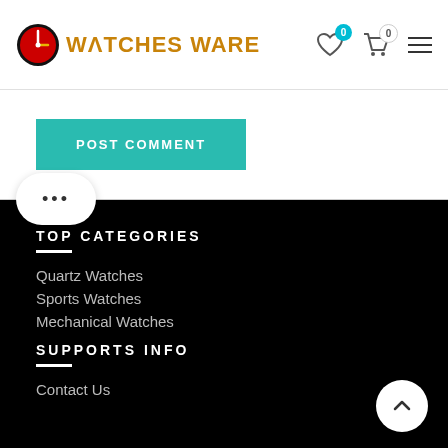WATCHES WARE
[Figure (screenshot): POST COMMENT button in teal/green color]
TOP CATEGORIES
Quartz Watches
Sports Watches
Mechanical Watches
SUPPORTS INFO
Contact Us